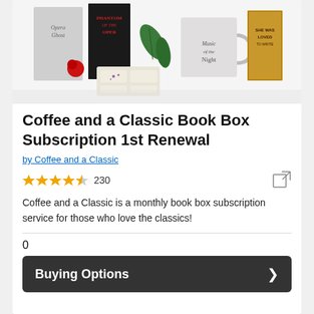[Figure (photo): Product photo showing a Phantom of the Opera themed book box with candles, wax melts, a red rose, a mug reading 'Music of the Night', books, and other accessories on a white background.]
Coffee and a Classic Book Box Subscription 1st Renewal
by Coffee and a Classic
★★★★½ 230
Coffee and a Classic is a monthly book box subscription service for those who love the classics!
0
Buying Options